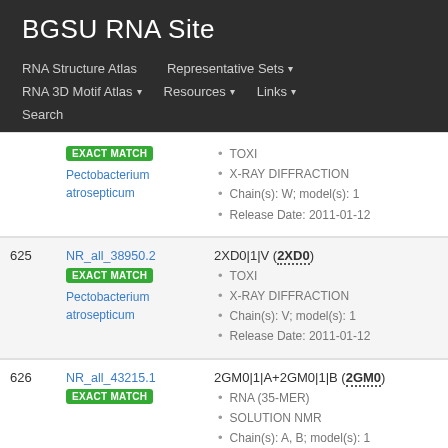BGSU RNA Site
RNA Structure Atlas | Representative Sets | RNA 3D Motif Atlas | Resources | Links | Search
| # | Representative Set | Details |
| --- | --- | --- |
|  | NR_all_38950.2 EXACT MATCH Pectobacterium atrosepticum | TOXI • X-RAY DIFFRACTION • Chain(s): W; model(s): 1 • Release Date: 2011-01-12 |
| 625 | NR_all_38950.2 EXACT MATCH Pectobacterium atrosepticum | 2XD0|1|V (2XD0) • TOXI • X-RAY DIFFRACTION • Chain(s): V; model(s): 1 • Release Date: 2011-01-12 |
| 626 | NR_all_43215.1 EXACT MATCH | 2GM0|1|A+2GM0|1|B (2GM0) • RNA (35-MER) • SOLUTION NMR • Chain(s): A, B; model(s): 1 |